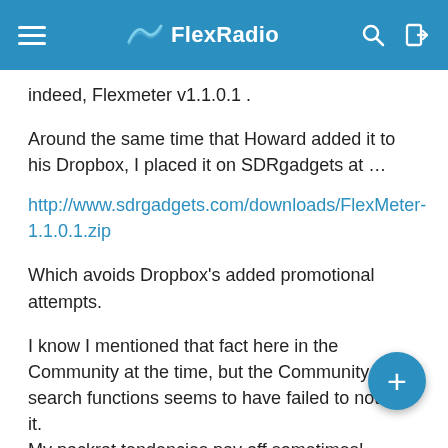FlexRadio
indeed, Flexmeter v1.1.0.1 .
Around the same time that Howard added it to his Dropbox, I placed it on SDRgadgets at …
http://www.sdrgadgets.com/downloads/FlexMeter-1.1.0.1.zip
Which avoids Dropbox's added promotional attempts.
I know I mentioned that fact here in the Community at the time, but the Community search functions seems to have failed to notice it.
My packrat tendencies pay off sometimes!
SDRgadgets
73, Jay, NOEL